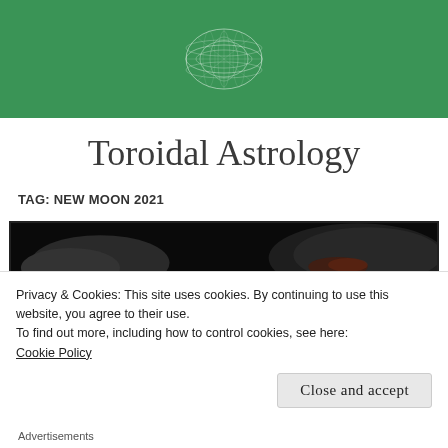[Figure (illustration): Green banner header with a white wireframe torus (donut shape) in the center on a dark green background]
Toroidal Astrology
TAG: NEW MOON 2021
[Figure (photo): Dark image strip showing rocky/space scene with black background and reddish-dark planet or rock shapes]
Privacy & Cookies: This site uses cookies. By continuing to use this website, you agree to their use.
To find out more, including how to control cookies, see here:
Cookie Policy
Close and accept
Advertisements